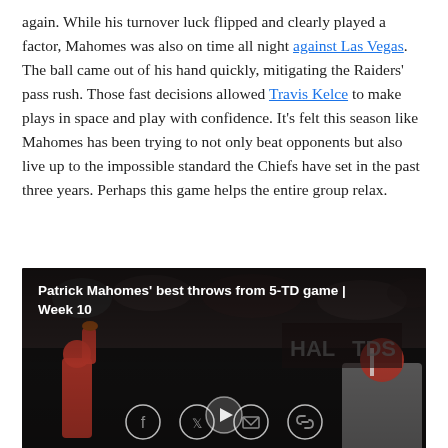again. While his turnover luck flipped and clearly played a factor, Mahomes was also on time all night against Las Vegas. The ball came out of his hand quickly, mitigating the Raiders' pass rush. Those fast decisions allowed Travis Kelce to make plays in space and play with confidence. It's felt this season like Mahomes has been trying to not only beat opponents but also live up to the impossible standard the Chiefs have set in the past three years. Perhaps this game helps the entire group relax.
[Figure (screenshot): Video thumbnail showing Patrick Mahomes throwing a football, with text overlay: 'Patrick Mahomes' best throws from 5-TD game | Week 10']
[Figure (other): Social share icons for Facebook, Twitter, Email, and Link]